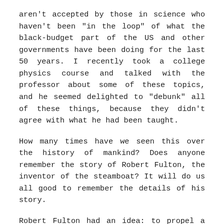aren't accepted by those in science who haven't been “in the loop” of what the black-budget part of the US and other governments have been doing for the last 50 years. I recently took a college physics course and talked with the professor about some of these topics, and he seemed delighted to “debunk” all of these things, because they didn’t agree with what he had been taught.
How many times have we seen this over the history of mankind? Does anyone remember the story of Robert Fulton, the inventor of the steamboat? It will do us all good to remember the details of his story.
Robert Fulton had an idea: to propel a boat over the water using steam power. The critics and skeptics were nearly unanimous: “It will never